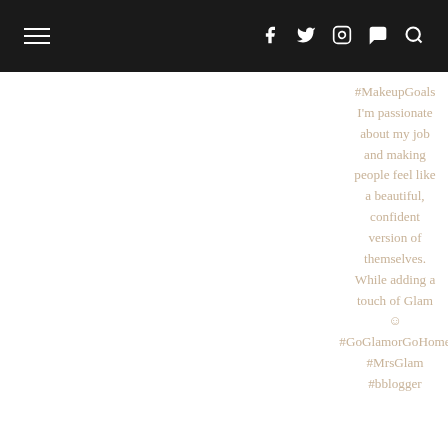≡  f  𝕏  ☎  ℗  🔍
#MakeupGoals I'm passionate about my job and making people feel like a beautiful, confident version of themselves. While adding a touch of Glam 😊 #GoGlamorGoHome #MrsGlam #bblogger
unattainable for a busy mum of 2 that works so much! But I do what I can on social media and it's paying off! Thank you to everyone of my fab loyal followers, I don't think I'll retire just yet I'm only getting started 😊😊 Lv #MrsMakeup 💄 #50k #50000 #instagram #instagramfollowers #mummy #mua #bblogger #delighted